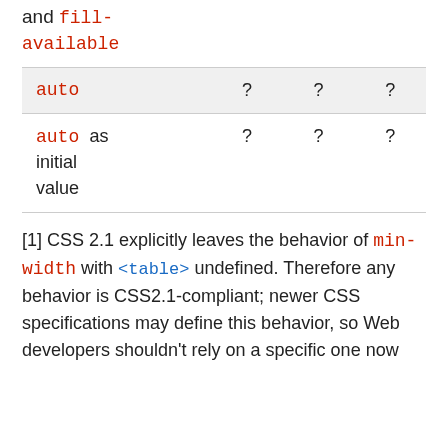and fill-available
| auto | ? | ? | ? |
| auto as initial value | ? | ? | ? |
[1] CSS 2.1 explicitly leaves the behavior of min-width with <table> undefined. Therefore any behavior is CSS2.1-compliant; newer CSS specifications may define this behavior, so Web developers shouldn't rely on a specific one now